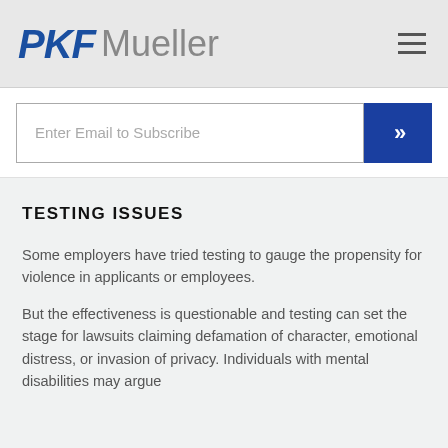PKF Mueller
Enter Email to Subscribe
TESTING ISSUES
Some employers have tried testing to gauge the propensity for violence in applicants or employees.
But the effectiveness is questionable and testing can set the stage for lawsuits claiming defamation of character, emotional distress, or invasion of privacy. Individuals with mental disabilities may argue